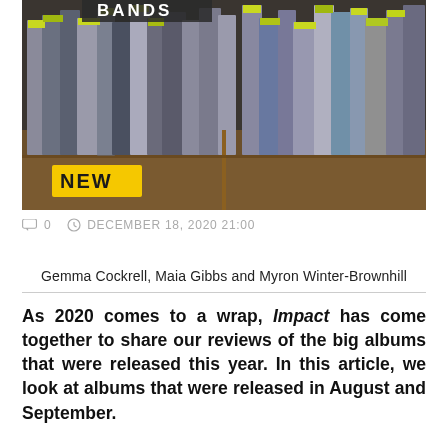[Figure (photo): Rows of vinyl records in wooden crates at a record store, with yellow price tags and a 'NEW' sign visible in the foreground. A 'BANDS' sign is partially visible at the top.]
0   DECEMBER 18, 2020 21:00
Gemma Cockrell, Maia Gibbs and Myron Winter-Brownhill
As 2020 comes to a wrap, Impact has come together to share our reviews of the big albums that were released this year. In this article, we look at albums that were released in August and September.